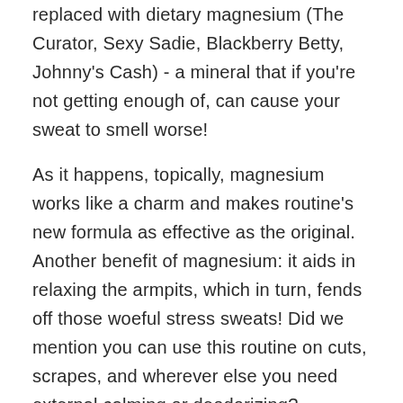replaced with dietary magnesium (The Curator, Sexy Sadie, Blackberry Betty, Johnny's Cash) - a mineral that if you're not getting enough of, can cause your sweat to smell worse!
As it happens, topically, magnesium works like a charm and makes routine's new formula as effective as the original. Another benefit of magnesium: it aids in relaxing the armpits, which in turn, fends off those woeful stress sweats! Did we mention you can use this routine on cuts, scrapes, and wherever else you need external calming or deodorizing? Amazing! Magnesium is a front-runner in the health and wellness world and we're excited to help you get your daily dose! + + positive!
58g, enough for 3-6 months with regular use. Shelf life is 12 months once opened.
Ingredients: cocos nucifera (coconut) oil, magnesium